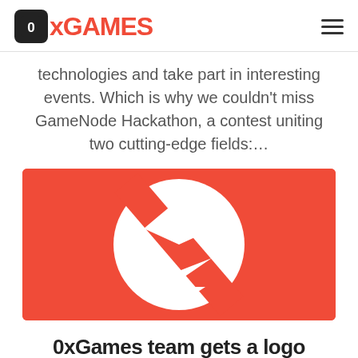0xGAMES
technologies and take part in interesting events. Which is why we couldn't miss GameNode Hackathon, a contest uniting two cutting-edge fields:…
[Figure (logo): 0xGames logo — red background with white circle and white/red geometric 0x symbol (diamond and arrow shapes with a diagonal slash)]
0xGames team gets a logo